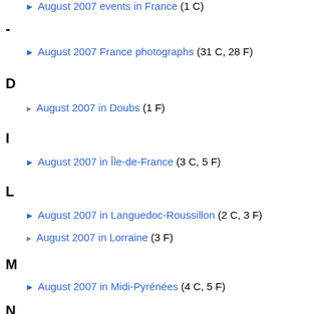▶ August 2007 events in France (1 C)
-
▶ August 2007 France photographs (31 C, 28 F)
D
▶ August 2007 in Doubs (1 F)
I
▶ August 2007 in Île-de-France (3 C, 5 F)
L
▶ August 2007 in Languedoc-Roussillon (2 C, 3 F)
▶ August 2007 in Lorraine (3 F)
M
▶ August 2007 in Midi-Pyrénées (4 C, 5 F)
N